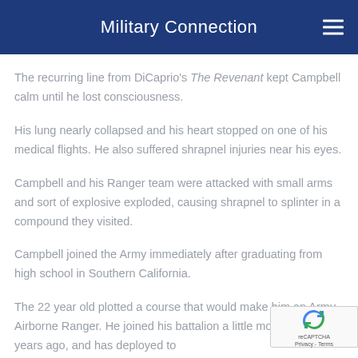Military Connection
The recurring line from DiCaprio's The Revenant kept Campbell calm until he lost consciousness.
His lung nearly collapsed and his heart stopped on one of his medical flights. He also suffered shrapnel injuries near his eyes.
Campbell and his Ranger team were attacked with small arms and sort of explosive exploded, causing shrapnel to splinter in a compound they visited.
Campbell joined the Army immediately after graduating from high school in Southern California.
The 22 year old plotted a course that would make him an Army Airborne Ranger. He joined his battalion a little more than two years ago, and has deployed to